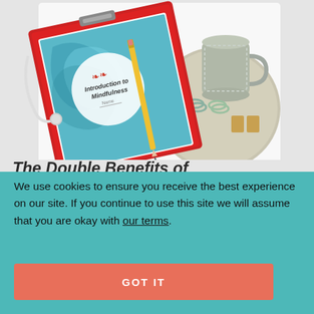[Figure (photo): Photo of a clipboard with a mindfulness workbook titled 'Introduction to Mindfulness', a yellow pencil, paper clips, binder clips, and a mug on a round tray, set against a white background.]
We use cookies to ensure you receive the best experience on our site. If you continue to use this site we will assume that you are okay with our terms.
GOT IT